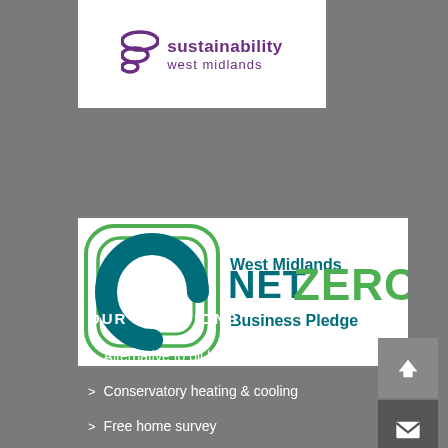[Figure (logo): Sustainability West Midlands logo with wave icon and purple text]
[Figure (logo): West Midlands Net Zero Business Pledge logo with teal C shape and green ZERO text]
OUR SOLUTIONS
Alternative to oil heating
Conservatory heating & cooling
Free home survey